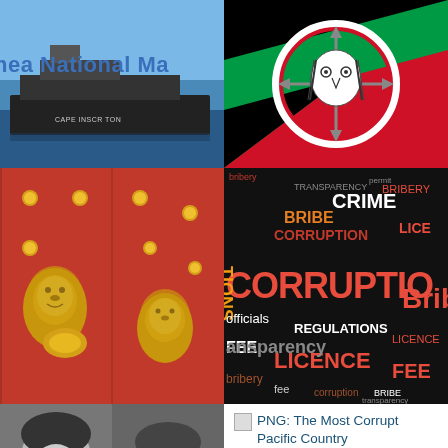[Figure (photo): Ship with text 'nea National Ma' overlay — Papua New Guinea National Maritime ship]
[Figure (photo): Papua New Guinea flag with traditional emblem/logo on black, green and red diagonal flag]
[Figure (photo): Red door with gold ornamental lion head door knockers and round gold studs]
[Figure (infographic): Word cloud on black background with corruption-related words: CORRUPTION, BRIBE, CRIME, BRIBERY, LICENCE, REGULATIONS, officials, transparency, FEE, ansparency, bribery, fee, corruption, BRIBE, transparency]
[Figure (photo): Black and white photograph of two people, appears vintage/historic]
PNG: The Most Corrupt Pacific Country
Who Introduced the Sweet